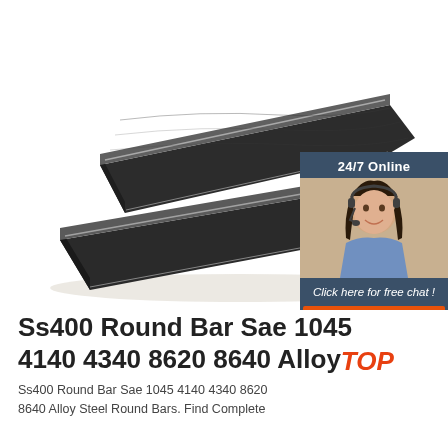[Figure (photo): Two flat dark/black steel bars (alloy steel flat bars) photographed at an angle on white background, showing metallic edges. A customer service chat widget in the top right corner shows a woman with a headset, labeled '24/7 Online' and 'Click here for free chat!' with an orange QUOTATION button.]
Ss400 Round Bar Sae 1045 4140 4340 8620 8640 Alloy
Ss400 Round Bar Sae 1045 4140 4340 8620 8640 Alloy Steel Round Bars. Find Complete